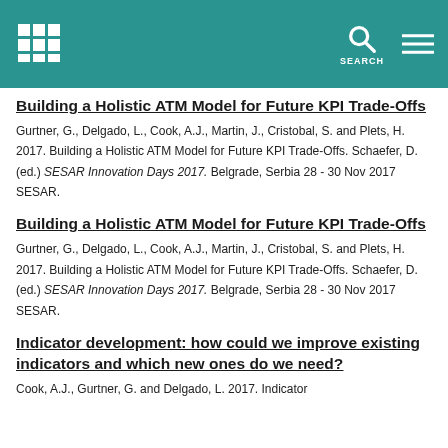Building a Holistic ATM Model for Future KPI Trade-Offs [header nav bar]
Building a Holistic ATM Model for Future KPI Trade-Offs
Gurtner, G., Delgado, L., Cook, A.J., Martin, J., Cristobal, S. and Plets, H. 2017. Building a Holistic ATM Model for Future KPI Trade-Offs. Schaefer, D. (ed.) SESAR Innovation Days 2017. Belgrade, Serbia 28 - 30 Nov 2017 SESAR.
Building a Holistic ATM Model for Future KPI Trade-Offs
Gurtner, G., Delgado, L., Cook, A.J., Martin, J., Cristobal, S. and Plets, H. 2017. Building a Holistic ATM Model for Future KPI Trade-Offs. Schaefer, D. (ed.) SESAR Innovation Days 2017. Belgrade, Serbia 28 - 30 Nov 2017 SESAR.
Indicator development: how could we improve existing indicators and which new ones do we need?
Cook, A.J., Gurtner, G. and Delgado, L. 2017. Indicator